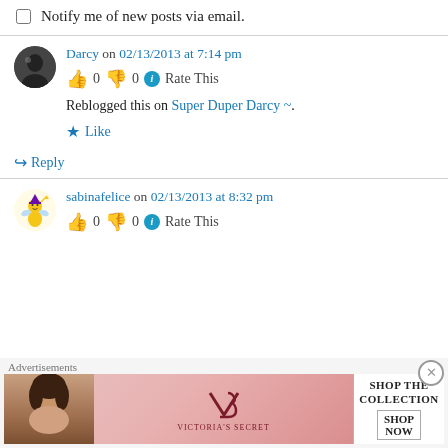Notify me of new posts via email.
Darcy on 02/13/2013 at 7:14 pm
👍 0 👎 0 ℹ Rate This
Reblogged this on Super Duper Darcy ~.
★ Like
↳ Reply
sabinafelice on 02/13/2013 at 8:32 pm
👍 0 👎 0 ℹ Rate This
Advertisements
[Figure (photo): Victoria's Secret advertisement banner with model, logo, and 'SHOP THE COLLECTION / SHOP NOW' button]